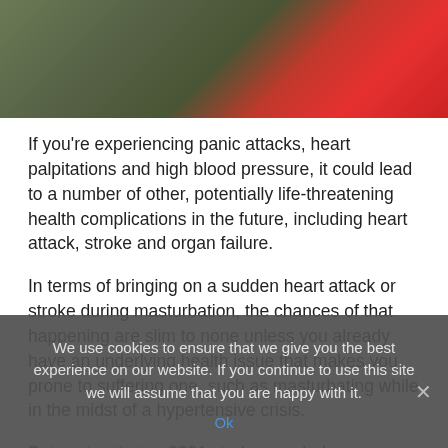[Figure (photo): Partial photo showing a wooden surface and red fabric/clothing in the background]
If you're experiencing panic attacks, heart palpitations and high blood pressure, it could lead to a number of other, potentially life-threatening health complications in the future, including heart attack, stroke and organ failure.
In terms of bringing on a sudden heart attack or stroke during masturbation, the chances of that happening are slim to none unless you already have an underlying health issue that makes you prone to suffering one, such as masturbating while in the midst of a hypertensive crisis.
But saying that, a 2021 study revealed an otherwise healthy
We use cookies to ensure that we give you the best experience on our website. If you continue to use this site we will assume that you are happy with it.
Ok